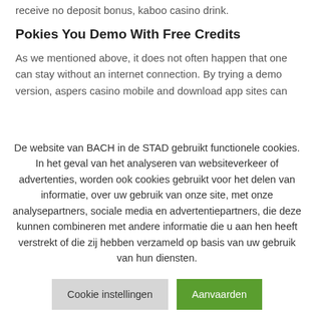receive no deposit bonus, kaboo casino drink.
Pokies You Demo With Free Credits
As we mentioned above, it does not often happen that one can stay without an internet connection. By trying a demo version, aspers casino mobile and download app sites can
De website van BACH in de STAD gebruikt functionele cookies. In het geval van het analyseren van websiteverkeer of advertenties, worden ook cookies gebruikt voor het delen van informatie, over uw gebruik van onze site, met onze analysepartners, sociale media en advertentiepartners, die deze kunnen combineren met andere informatie die u aan hen heeft verstrekt of die zij hebben verzameld op basis van uw gebruik van hun diensten.
Cookie instellingen
Aanvaarden